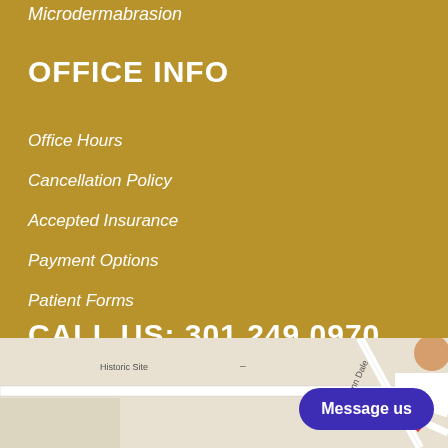Microdermabrasion
OFFICE INFO
Office Hours
Cancellation Policy
Accepted Insurance
Payment Options
Patient Forms
CALL US: 301.249.0970
[Figure (map): Google Maps view showing a location pin near Glenn Dale and Fairwood area with Historic Site label visible. A 'Message us' button overlay appears in bottom right.]